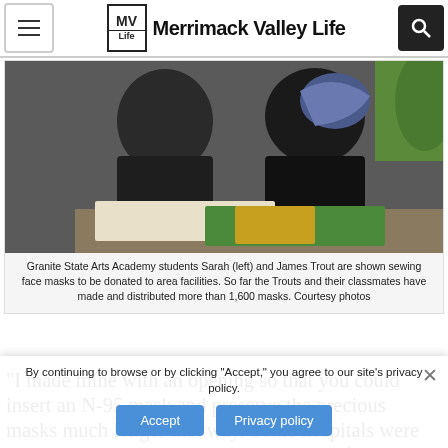Merrimack Valley Life
[Figure (photo): Two students at Granite State Arts Academy sewing face masks at a table, with colorful fabric visible]
Granite State Arts Academy students Sarah (left) and James Trout are shown sewing face masks to be donated to area facilities. So far the Trouts and their classmates have made and distributed more than 1,600 masks. Courtesy photos
“I made mine with an opening so that you could insert an N-95 mask and preserve the precious masks much longer that way. Some hospitals were requesting that,” Mahan said. “The outer fabric masks we make can be washed, and the inner mask can be put back in.”
“The students have really stepped up,” Mahan said. “They
By continuing to browse or by clicking "Accept," you agree to our site’s privacy policy.